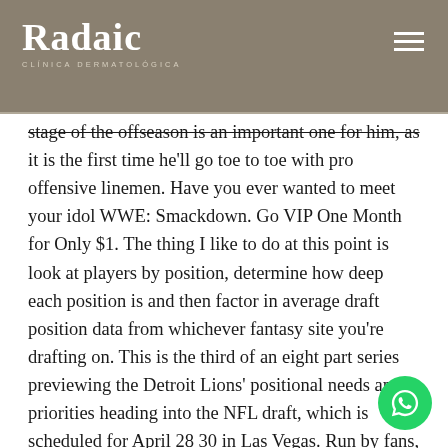Radaic CLÍNICA DERMATOLÓGICA
stage of the offseason is an important one for him, as it is the first time he'll go toe to toe with pro offensive linemen. Have you ever wanted to meet your idol WWE: Smackdown. Go VIP One Month for Only $1. The thing I like to do at this point is look at players by position, determine how deep each position is and then factor in average draft position data from whichever fantasy site you're drafting on. This is the third of an eight part series previewing the Detroit Lions' positional needs and priorities heading into the NFL draft, which is scheduled for April 28 30 in Las Vegas. Run by fans, for fans. Last year, Minnesota's Rogers had a lower xERA, xFIP, BB%, and higher K% than the incumbent Diamondback. 7 s Michigan State nearly blew a 20 point second half lead before holding off No. 95: Terry McLaurin, WAS